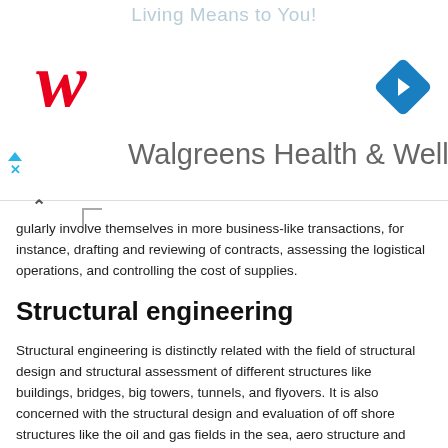[Figure (logo): Walgreens Health & Wellness advertisement banner with Walgreens logo W in red, blue navigation arrows, blue diamond with right-turn icon, and text 'Living Means to You!' and 'Walgreens Health & Wellness']
gularly involve themselves in more business-like transactions, for instance, drafting and reviewing of contracts, assessing the logistical operations, and controlling the cost of supplies.
Structural engineering
Structural engineering is distinctly related with the field of structural design and structural assessment of different structures like buildings, bridges, big towers, tunnels, and flyovers. It is also concerned with the structural design and evaluation of off shore structures like the oil and gas fields in the sea, aero structure and other various structures. This comprise recognition of the loads which perform upon a structure and the forces and stresses which emerges inside that structure because of those pressure and then planning the design of the structure to efficiently support and withstand those loads. The loads can be the weight of the structures, ,